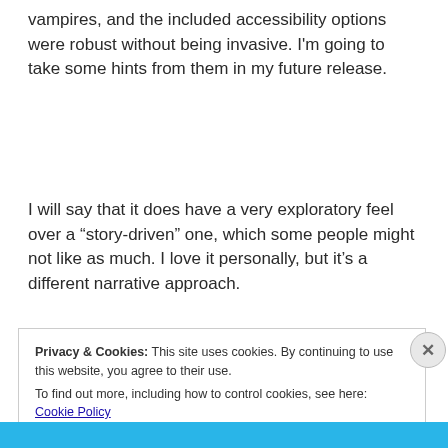vampires, and the included accessibility options were robust without being invasive. I'm going to take some hints from them in my future release.
I will say that it does have a very exploratory feel over a “story-driven” one, which some people might not like as much. I love it personally, but it’s a different narrative approach.
Privacy & Cookies: This site uses cookies. By continuing to use this website, you agree to their use. To find out more, including how to control cookies, see here: Cookie Policy
Close and accept